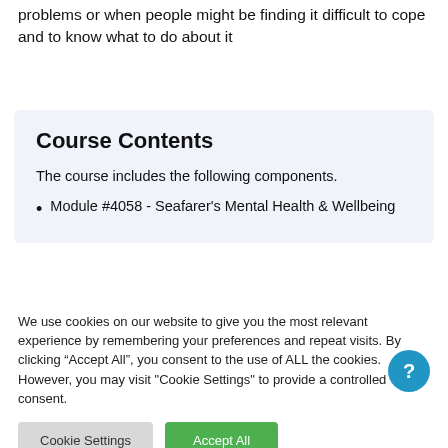problems or when people might be finding it difficult to cope and to know what to do about it
Course Contents
The course includes the following components.
Module #4058 - Seafarer's Mental Health & Wellbeing
We use cookies on our website to give you the most relevant experience by remembering your preferences and repeat visits. By clicking “Accept All”, you consent to the use of ALL the cookies. However, you may visit "Cookie Settings" to provide a controlled consent.